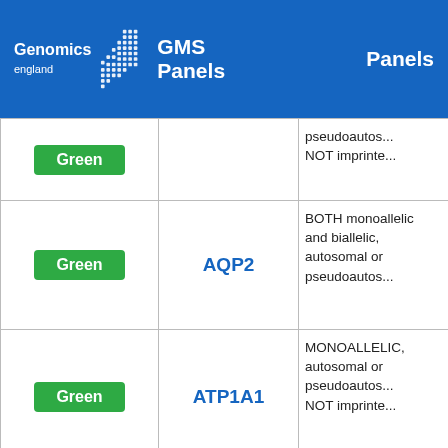Genomics England | GMS Panels | Panels
| Rating | Gene | Mode of Inheritance |
| --- | --- | --- |
| Green | (truncated) | pseudoautos... NOT imprinte... |
| Green | AQP2 | BOTH monoallelic and biallelic, autosomal or pseudoautos... |
| Green | ATP1A1 | MONOALLELIC, autosomal or pseudoautos... NOT imprinte... |
| Green | ATP6V0A4 | BIALLELIC, autosomal or pseudoautos... |
| Green | (truncated) | BIALLELIC... |